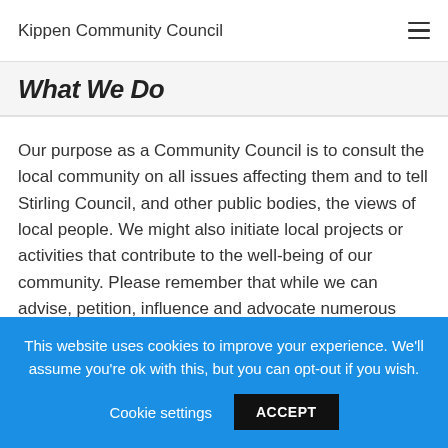Kippen Community Council
What We Do
Our purpose as a Community Council is to consult the local community on all issues affecting them and to tell Stirling Council, and other public bodies, the views of local people. We might also initiate local projects or activities that contribute to the well-being of our community. Please remember that while we can advise, petition, influence and advocate numerous causes and cases of concern on behalf of local people, we are restricted in what we can actually do. In general we will simply be reflecting local views.
This website uses cookies to improve your experience. We'll assume you're ok with this, but you can opt-out if you wish.
Cookie settings  ACCEPT